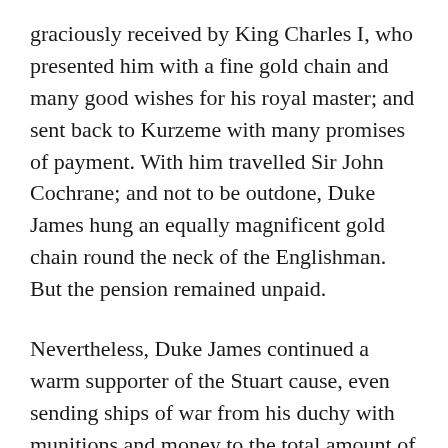graciously received by King Charles I, who presented him with a fine gold chain and many good wishes for his royal master; and sent back to Kurzeme with many promises of payment. With him travelled Sir John Cochrane; and not to be outdone, Duke James hung an equally magnificent gold chain round the neck of the Englishman. But the pension remained unpaid.
Nevertheless, Duke James continued a warm supporter of the Stuart cause, even sending ships of war from his duchy with munitions and money to the total amount of £74,000, an enormous sum for those days, to aid King Charles. Unfortunately there is no record of any of this sum having been repaid. Still Duke James remained faithful to the cause of the Stuarts while Charles I lived, and only after his death